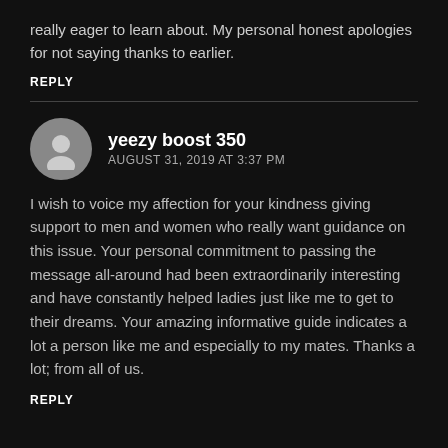really eager to learn about. My personal honest apologies for not saying thanks to earlier.
REPLY
yeezy boost 350
AUGUST 31, 2019 AT 3:37 PM
I wish to voice my affection for your kindness giving support to men and women who really want guidance on this issue. Your personal commitment to passing the message all-around had been extraordinarily interesting and have constantly helped ladies just like me to get to their dreams. Your amazing informative guide indicates a lot a person like me and especially to my mates. Thanks a lot; from all of us.
REPLY